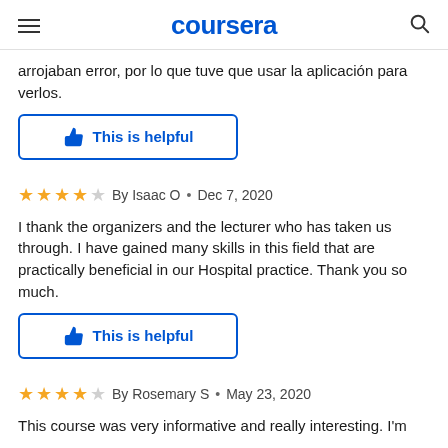coursera
arrojaban error, por lo que tuve que usar la aplicación para verlos.
This is helpful
By Isaac O • Dec 7, 2020
I thank the organizers and the lecturer who has taken us through. I have gained many skills in this field that are practically beneficial in our Hospital practice. Thank you so much.
This is helpful
By Rosemary S • May 23, 2020
This course was very informative and really interesting. I'm